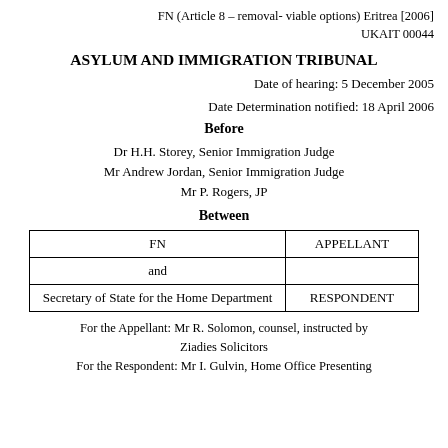FN (Article 8 – removal- viable options) Eritrea [2006] UKAIT 00044
ASYLUM AND IMMIGRATION TRIBUNAL
Date of hearing: 5 December 2005
Date Determination notified: 18 April 2006
Before
Dr H.H. Storey, Senior Immigration Judge
Mr Andrew Jordan, Senior Immigration Judge
Mr P. Rogers, JP
Between
|  |  |
| --- | --- |
| FN | APPELLANT |
| and |  |
| Secretary of State for the Home Department | RESPONDENT |
For the Appellant: Mr R. Solomon, counsel, instructed by Ziadies Solicitors
For the Respondent: Mr I. Gulvin, Home Office Presenting